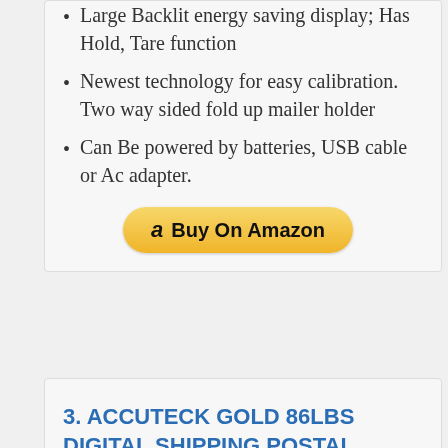Large Backlit energy saving display; Has Hold, Tare function
Newest technology for easy calibration. Two way sided fold up mailer holder
Can Be powered by batteries, USB cable or Ac adapter.
[Figure (other): Buy On Amazon button with Amazon logo]
3. ACCUTECK GOLD 86LBS DIGITAL SHIPPING POSTAL